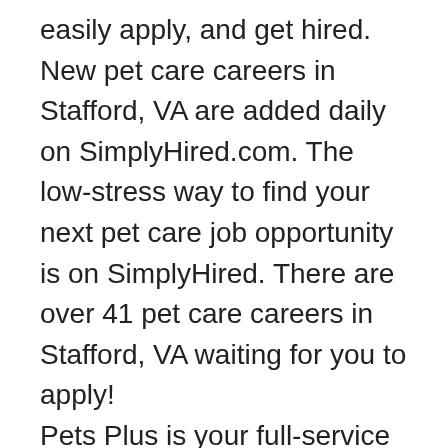easily apply, and get hired. New pet care careers in Stafford, VA are added daily on SimplyHired.com. The low-stress way to find your next pet care job opportunity is on SimplyHired. There are over 41 pet care careers in Stafford, VA waiting for you to apply! Pets Plus is your full-service Pet store. We carry the finest Puppies, but we also carry exotic animals, reptiles, fish, and much,much more!! 2610 Jefferson Davis Hwy. Stafford, VA 22554 (540) 659-6900 Stafford, VA 22556 | Map Petco is a leading pet specialty retailer providing high-quality food and supplies for pets of all types! Petco also offers services such as groomi... Find the Best Stafford, VA Pet Stores on Superpages. We have multiple consumer reviews, photos and opening hours. Pets PLUS INC in Stafford, VA -- Get driving directions to